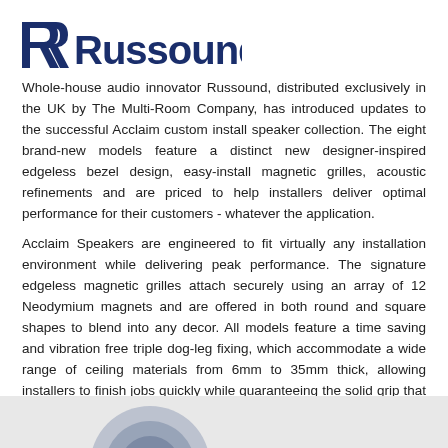[Figure (logo): Russound logo: stylized double-R mark in dark navy blue followed by 'Russound.' wordmark in dark navy blue]
Whole-house audio innovator Russound, distributed exclusively in the UK by The Multi-Room Company, has introduced updates to the successful Acclaim custom install speaker collection. The eight brand-new models feature a distinct new designer-inspired edgeless bezel design, easy-install magnetic grilles, acoustic refinements and are priced to help installers deliver optimal performance for their customers - whatever the application.
Acclaim Speakers are engineered to fit virtually any installation environment while delivering peak performance. The signature edgeless magnetic grilles attach securely using an array of 12 Neodymium magnets and are offered in both round and square shapes to blend into any decor. All models feature a time saving and vibration free triple dog-leg fixing, which accommodate a wide range of ceiling materials from 6mm to 35mm thick, allowing installers to finish jobs quickly while guaranteeing the solid grip that high fidelity sound demands.
[Figure (photo): Partial image of Russound speaker at the bottom of the page]